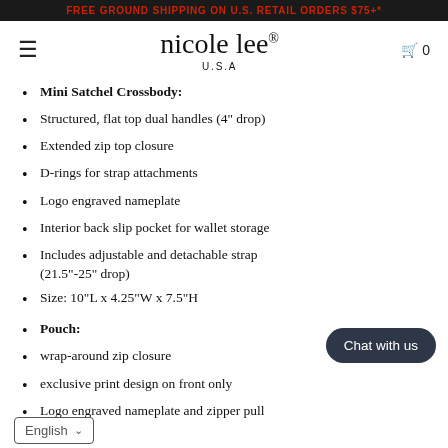FREE GROUND SHIPPING ON U.S. RETAIL ORDERS $75+*
nicole lee® U.S.A
Mini Satchel Crossbody:
Structured, flat top dual handles (4" drop)
Extended zip top closure
D-rings for strap attachments
Logo engraved nameplate
Interior back slip pocket for wallet storage
Includes adjustable and detachable strap (21.5"-25" drop)
Size: 10"L x 4.25"W x 7.5"H
Pouch:
wrap-around zip closure
exclusive print design on front only
Logo engraved nameplate and zipper pull